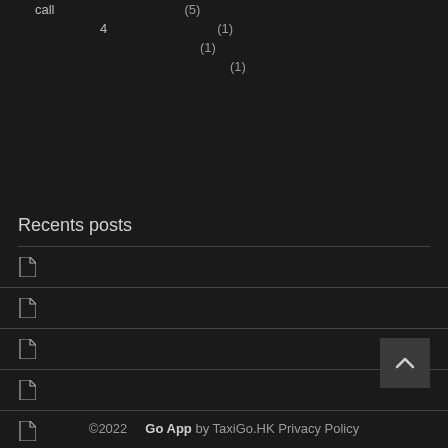call (5)
4 (1)
(1)
(1)
Recents posts
©2022  Go App by TaxiGo.HK Privacy Policy